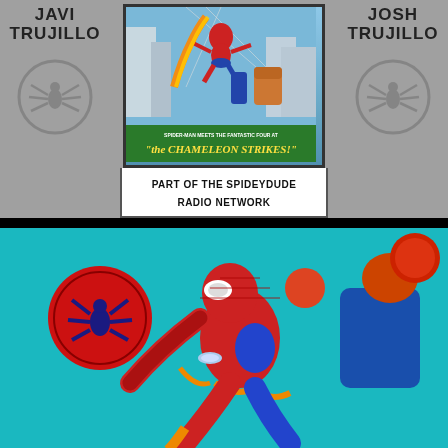[Figure (illustration): Top panel: gray background podcast/show cover with 'JAVI TRUJILLO' and 'JOSH TRUJILLO' text on left and right sides, central comic book cover image showing Spider-Man with the Fantastic Four, banner reading 'the CHAMELEON STRIKES!', subtitle box reading 'PART OF THE SPIDEYDUDE RADIO NETWORK', and spider-man logo watermarks on each side]
[Figure (illustration): Bottom panel: teal/turquoise background with colorful comic book illustration of Spider-Man in red and blue costume fighting another character, red spider logo circle badge on left side]